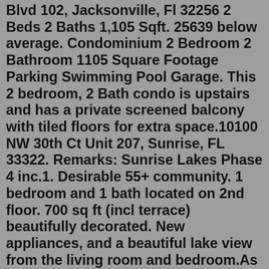Blvd 102, Jacksonville, Fl 32256 2 Beds 2 Baths 1,105 Sqft. 25639 below average. Condominium 2 Bedroom 2 Bathroom 1105 Square Footage Parking Swimming Pool Garage. This 2 bedroom, 2 Bath condo is upstairs and has a private screened balcony with tiled floors for extra space.10100 NW 30th Ct Unit 207, Sunrise, FL 33322. Remarks: Sunrise Lakes Phase 4 inc.1. Desirable 55+ community. 1 bedroom and 1 bath located on 2nd floor. 700 sq ft (incl terrace) beautifully decorated. New appliances, and a beautiful lake view from the living room and bedroom.As of July 2022, the average apartment rent in Fort Lauderdale, FL is $1,108 for a studio, $2,175 for one bedroom, $2,780 for two bedrooms, and $3,194 for three bedrooms. Apartment rent in Fort Lauderdale has increased by 25.3% in the past year. Beds.55 and over condos for sale in broward county View over 1,588,758 Broward County homes for Sale. Broward County real estate listings updated every 15min.. Jun 18, 2022 · 2,701 apartments and condos for sale are available in Broward County, FL, with